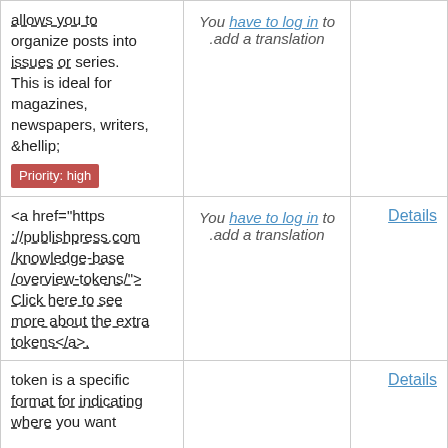| Original (English) | Translation | Action |
| --- | --- | --- |
| allows you to organize posts into issues or series. This is ideal for magazines, newspapers, writers, &hellip; Priority: high | You have to log in to add a translation |  |
| <a href="https://publishpress.com/knowledge-base/overview-tokens/">Click here to see more about the extra tokens</a>. | You have to log in to add a translation | Details |
| token is a specific format for indicating where you want |  | Details |